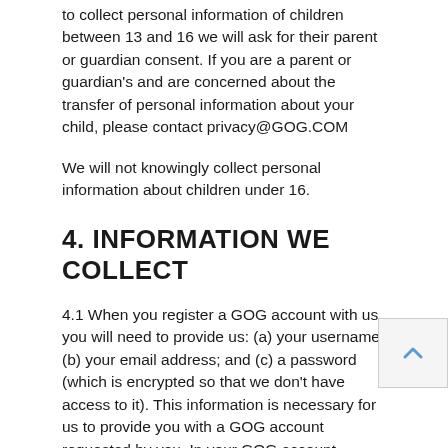to collect personal information of children between 13 and 16 we will ask for their parent or guardian consent. If you are a parent or guardian's and are concerned about the transfer of personal information about your child, please contact privacy@GOG.COM
We will not knowingly collect personal information about children under 16.
4. INFORMATION WE COLLECT
4.1 When you register a GOG account with us, you will need to provide us: (a) your username; (b) your email address; and (c) a password (which is encrypted so that we don't have access to it). This information is necessary for us to provide you with a GOG account requested by you. In your GOG account settings you can also set your date of birth, avatar, and your geographical location. This